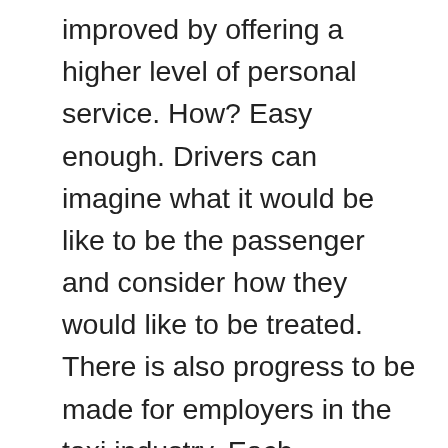improved by offering a higher level of personal service. How? Easy enough. Drivers can imagine what it would be like to be the passenger and consider how they would like to be treated. There is also progress to be made for employers in the taxi industry. Each employee is the face of our company. The employer ensures favorable working conditions and invests in quality materials. Thinking along with drivers and passengers, and looking ahead become the norm.